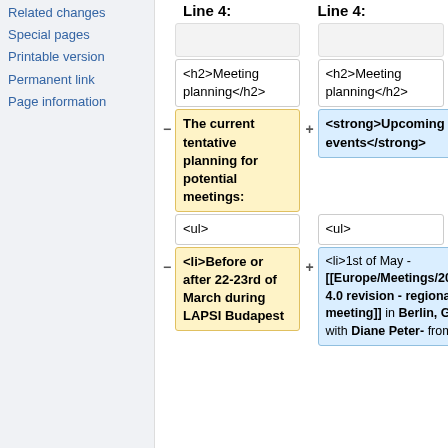Related changes
Special pages
Printable version
Permanent link
Page information
Line 4: (left column header)
Line 4: (right column header)
<h2>Meeting planning</h2> (left)
<h2>Meeting planning</h2> (right)
The current tentative planning for potential meetings: (highlighted yellow, minus marker)
<strong>Upcoming events</strong> (highlighted blue, plus marker)
<ul> (left)
<ul> (right)
<li>Before or after 22-23rd of March during LAPSI Budapest (highlighted yellow, minus marker)
<li>1st of May - [[Europe/Meetings/2012/4.0|The 4.0 revision - regional meeting]] in Berlin, Germany with Diane Peter- from... (highlighted blue, plus marker)